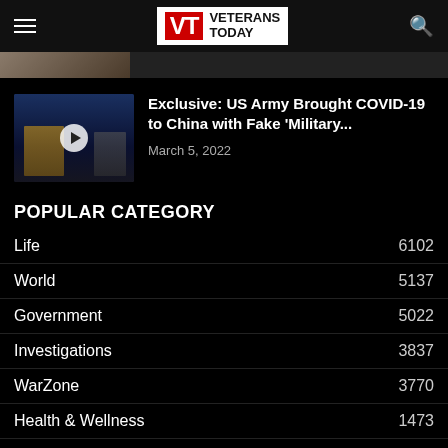Veterans Today
[Figure (screenshot): Partial article thumbnail strip at top of page]
[Figure (photo): Thumbnail image of press conference with play button overlay, showing two men in suits at a podium]
Exclusive: US Army Brought COVID-19 to China with Fake 'Military...
March 5, 2022
POPULAR CATEGORY
Life  6102
World  5137
Government  5022
Investigations  3837
WarZone  3770
Health & Wellness  1473
Military  1345